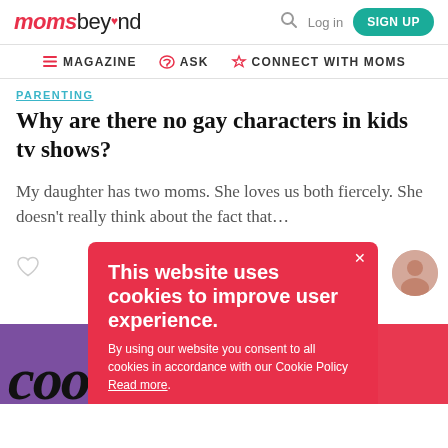moms beyond — MAGAZINE | ASK | CONNECT WITH MOMS
PARENTING
Why are there no gay characters in kids tv shows?
My daughter has two moms. She loves us both fiercely. She doesn't really think about the fact that...
This website uses cookies to improve user experience. By using our website you consent to all cookies in accordance with our Cookie Policy Read more.